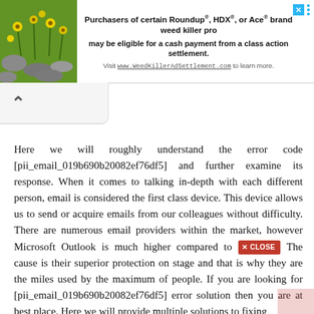[Figure (other): Advertisement banner with plant/flower image on the left and text about Roundup/HDX/Ace brand weed killer class action settlement on the right]
Here we will roughly understand the error code [pii_email_019b690b20082ef76df5] and further examine its response. When it comes to talking in-depth with each different person, email is considered the first class device. This device allows us to send or acquire emails from our colleagues without difficulty. There are numerous email providers within the market, however Microsoft Outlook is much higher compared to [CLOSE] The cause is their superior protection on stage and that is why they are the miles used by the maximum of people. If you are looking for [pii_email_019b690b20082ef76df5] error solution then you are at best place. Here we will provide multiple solutions to fixing the...